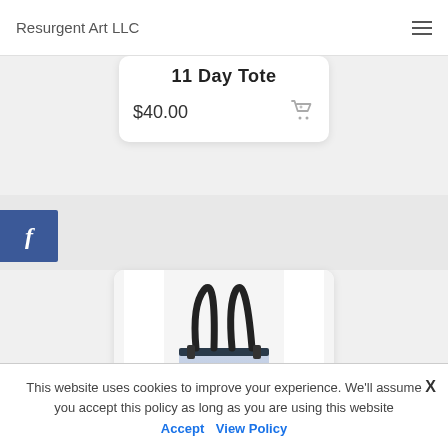Resurgent Art LLC
11 Day Tote
$40.00
[Figure (photo): A tote bag with sky/cloud print and dark handles displayed in a product card]
This website uses cookies to improve your experience. We'll assume you accept this policy as long as you are using this website Accept View Policy